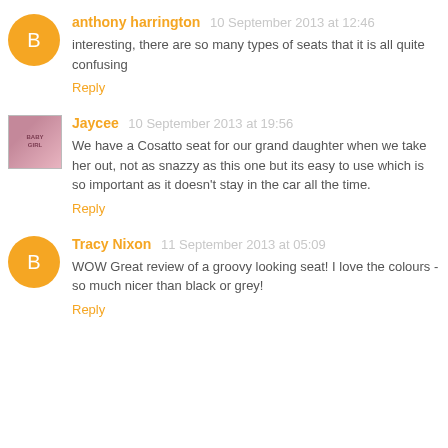anthony harrington  10 September 2013 at 12:46
interesting, there are so many types of seats that it is all quite confusing
Reply
Jaycee  10 September 2013 at 19:56
We have a Cosatto seat for our grand daughter when we take her out, not as snazzy as this one but its easy to use which is so important as it doesn't stay in the car all the time.
Reply
Tracy Nixon  11 September 2013 at 05:09
WOW Great review of a groovy looking seat! I love the colours - so much nicer than black or grey!
Reply